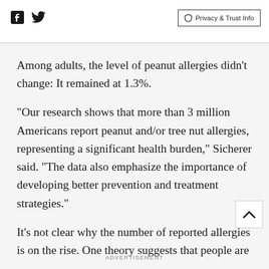Facebook Twitter  Privacy & Trust Info
Among adults, the level of peanut allergies didn't change: It remained at 1.3%.
"Our research shows that more than 3 million Americans report peanut and/or tree nut allergies, representing a significant health burden," Sicherer said. "The data also emphasize the importance of developing better prevention and treatment strategies."
It's not clear why the number of reported allergies is on the rise. One theory suggests that people are
ADVERTISEMENT